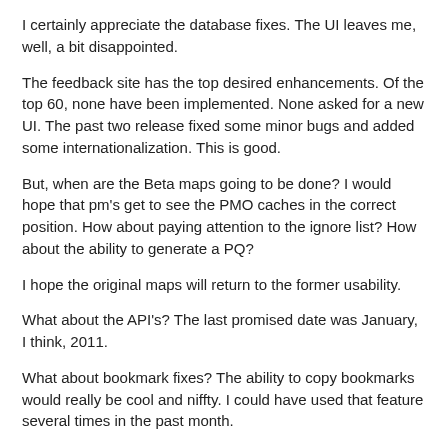I certainly appreciate the database fixes. The UI leaves me, well, a bit disappointed.
The feedback site has the top desired enhancements. Of the top 60, none have been implemented. None asked for a new UI. The past two release fixed some minor bugs and added some internationalization. This is good.
But, when are the Beta maps going to be done? I would hope that pm's get to see the PMO caches in the correct position. How about paying attention to the ignore list? How about the ability to generate a PQ?
I hope the original maps will return to the former usability.
What about the API's? The last promised date was January, I think, 2011.
What about bookmark fixes? The ability to copy bookmarks would really be cool and niffty. I could have used that feature several times in the past month.
There is not much in the top requests about PQ's but you keep rumoring about the PQ redesign. Can you give us a hint and maybe a time frame. Things like maps and PQ's are far more interesting to me than a new UI.